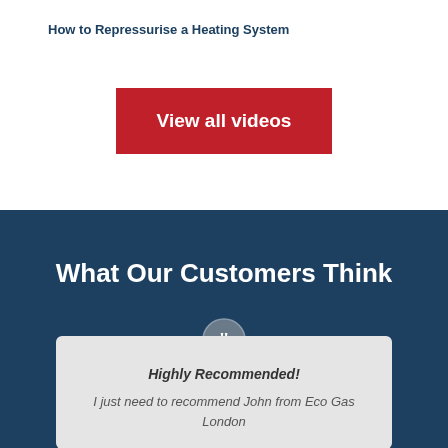How to Repressurise a Heating System
View all videos
What Our Customers Think
Highly Recommended!
I just need to recommend John from Eco Gas London